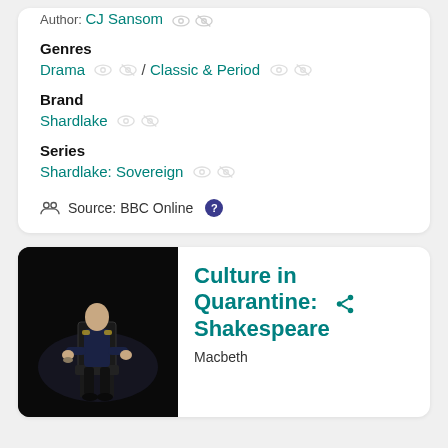Author: CJ Sansom
Genres
Drama / Classic & Period
Brand
Shardlake
Series
Shardlake: Sovereign
Source: BBC Online
[Figure (photo): A man in dark clothing seated on a chair on a dark stage, holding something in his hand — theatrical production photo]
Culture in Quarantine: Shakespeare
Macbeth